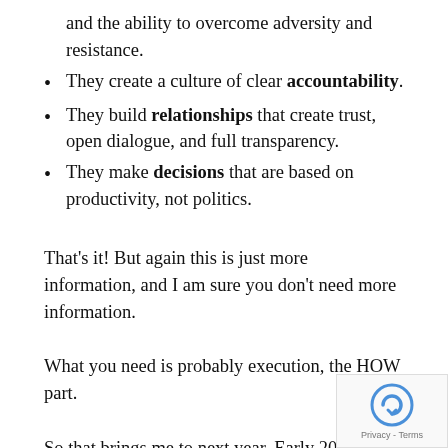and the ability to overcome adversity and resistance.
They create a culture of clear accountability.
They build relationships that create trust, open dialogue, and full transparency.
They make decisions that are based on productivity, not politics.
That’s it! But again this is just more information, and I am sure you don’t need more information.
What you need is probably execution, the HOW part.
So that brings me to next year. Early 2017, we wi launched the Team Leader’s Toolbox – a training program aimed at helping busy mangers learn quickly